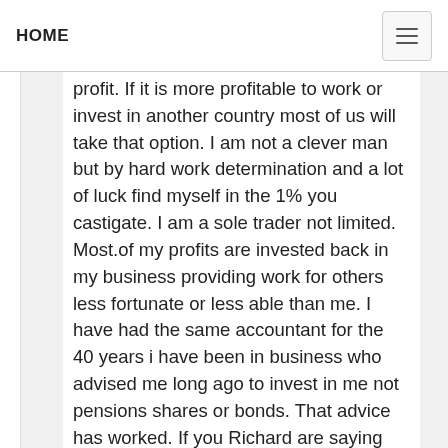HOME
profit. If it is more profitable to work or invest in another country most of us will take that option. I am not a clever man but by hard work determination and a lot of luck find myself in the 1% you castigate. I am a sole trader not limited. Most.of my profits are invested back in my business providing work for others less fortunate or less able than me. I have had the same accountant for the 40 years i have been in business who advised me long ago to invest in me not pensions shares or bonds. That advice has worked. If you Richard are saying there is only me in the top 1%